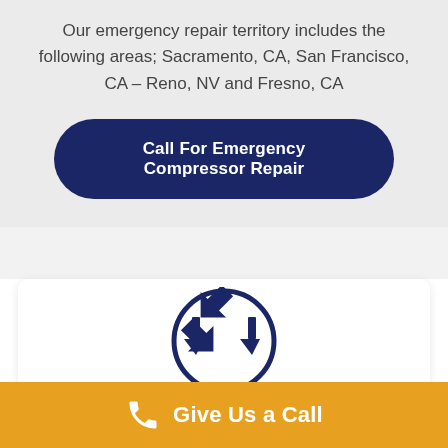Our emergency repair territory includes the following areas; Sacramento, CA, San Francisco, CA – Reno, NV and Fresno, CA
Call For Emergency Compressor Repair
[Figure (illustration): A circular icon with a dark navy border containing two downward-pointing arrow symbols converging toward center, representing compression or service.]
Give Us a Call